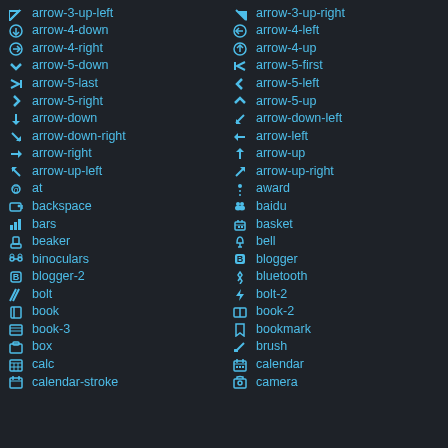arrow-3-up-left
arrow-3-up-right
arrow-4-down
arrow-4-left
arrow-4-right
arrow-4-up
arrow-5-down
arrow-5-first
arrow-5-last
arrow-5-left
arrow-5-right
arrow-5-up
arrow-down
arrow-down-left
arrow-down-right
arrow-left
arrow-right
arrow-up
arrow-up-left
arrow-up-right
at
award
backspace
baidu
bars
basket
beaker
bell
binoculars
blogger
blogger-2
bluetooth
bolt
bolt-2
book
book-2
book-3
bookmark
box
brush
calc
calendar
calendar-stroke
camera